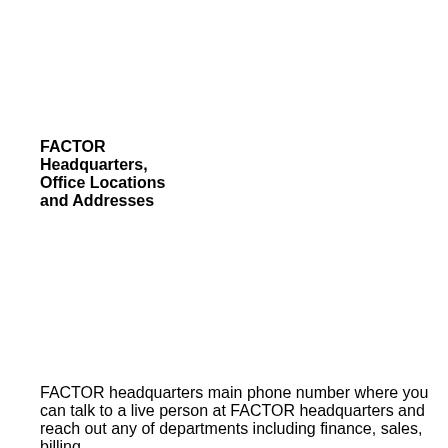FACTOR Headquarters, Office Locations and Addresses
FACTOR headquarters main phone number where you can talk to a live person at FACTOR headquarters and reach out any of departments including finance, sales, billing...